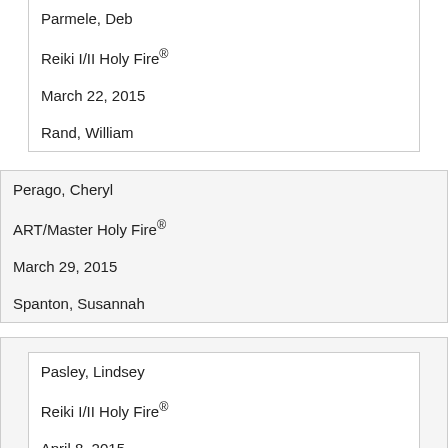| Parmele, Deb |
| Reiki I/II Holy Fire® |
| March 22, 2015 |
| Rand, William |
| Perago, Cheryl |
| ART/Master Holy Fire® |
| March 29, 2015 |
| Spanton, Susannah |
| Pasley, Lindsey |
| Reiki I/II Holy Fire® |
| April 8, 2015 |
| Harrison, Karen |